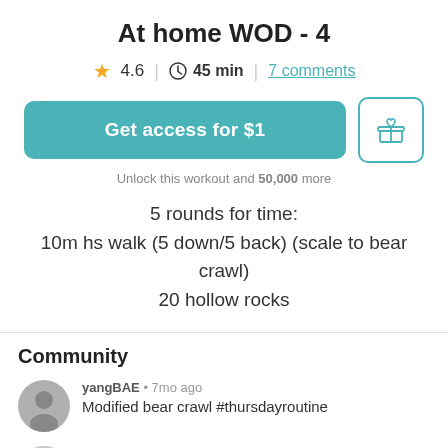At home WOD - 4
4.6 | 45 min | 7 comments
Get access for $1
Unlock this workout and 50,000 more
5 rounds for time:
10m hs walk (5 down/5 back) (scale to bear crawl)
20 hollow rocks
Community
yangBAE • 7mo ago
Modified bear crawl #thursdayroutine
Todd • 2y ago